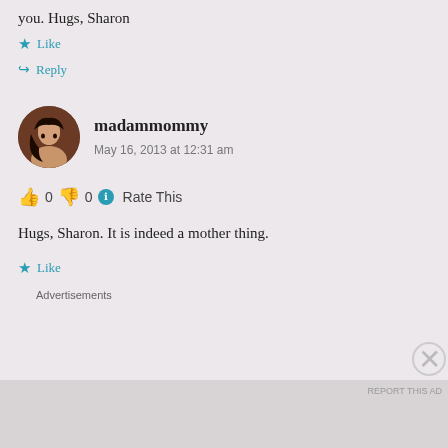you. Hugs, Sharon
★ Like
↪ Reply
madammommy
May 16, 2013 at 12:31 am
👍 0 👎 0 ℹ Rate This
Hugs, Sharon. It is indeed a mother thing.
★ Like
Advertisements